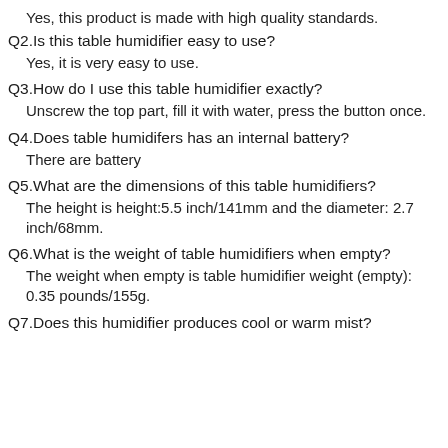Yes, this product is made with high quality standards.
Q2.Is this table humidifier easy to use?
Yes, it is very easy to use.
Q3.How do I use this table humidifier exactly?
Unscrew the top part, fill it with water, press the button once.
Q4.Does table humidifers has an internal battery?
There are battery
Q5.What are the dimensions of this table humidifiers?
The height is height:5.5 inch/141mm and the diameter: 2.7 inch/68mm.
Q6.What is the weight of table humidifiers when empty?
The weight when empty is table humidifier weight (empty): 0.35 pounds/155g.
Q7.Does this humidifier produces cool or warm mist?